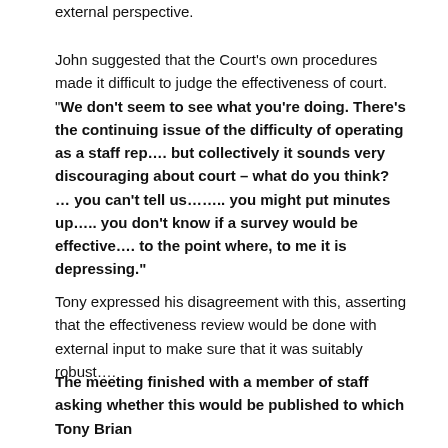external perspective.
John suggested that the Court's own procedures made it difficult to judge the effectiveness of court. “We don’t seem to see what you’re doing.  There’s the continuing issue of the difficulty of operating as a staff rep…. but collectively it sounds very discouraging about court – what do you think? … you can’t tell us…….. you might put minutes up….. you don’t know if a survey would be effective….  to the point where, to me it is depressing.”
Tony expressed his disagreement with this, asserting that the effectiveness review would be done with external input to make sure that it was suitably robust….
The meeting finished with a member of staff asking whether this would be published to which Tony Brian responded… “the procedures review meant that kind of…